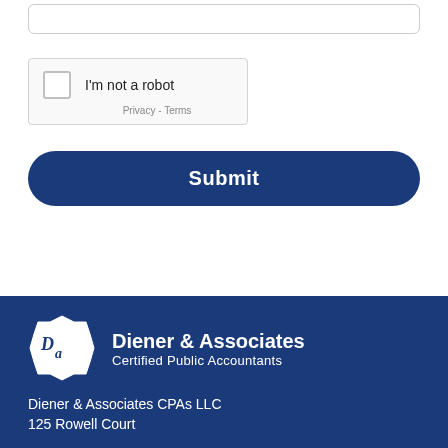[Figure (screenshot): reCAPTCHA widget with checkbox and 'I'm not a robot' text, with Privacy and Terms links below]
Submit
[Figure (logo): Diener & Associates Certified Public Accountants logo with script DA badge]
Diener & Associates CPAs LLC
125 Rowell Court